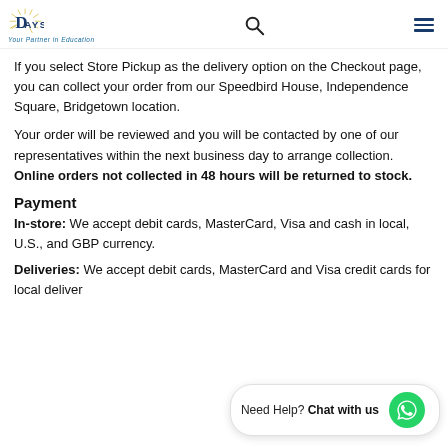Days – Your Partner in Education (navigation header with logo, search, and menu)
If you select Store Pickup as the delivery option on the Checkout page, you can collect your order from our Speedbird House, Independence Square, Bridgetown location.
Your order will be reviewed and you will be contacted by one of our representatives within the next business day to arrange collection. Online orders not collected in 48 hours will be returned to stock.
Payment
In-store: We accept debit cards, MasterCard, Visa and cash in local, U.S., and GBP currency.
Deliveries: We accept debit cards, MasterCard and Visa credit cards for local deliver…